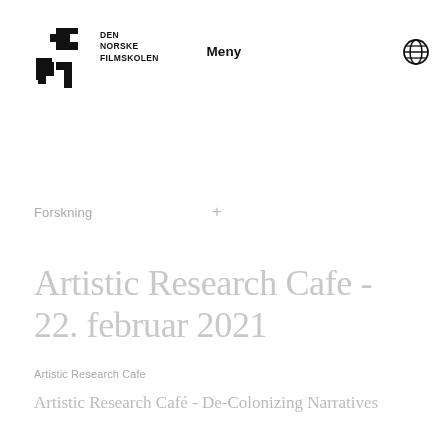DEN NORSKE FILMSKOLEN   Meny
[Figure (logo): Den Norske Filmskolen logo — abstract black angular shapes forming a stylized mark]
Forskning +
Artistic Research Cafe - 22. februar 2021
Artistic Research Cafe
Artistic Research Café - De-Colonizing Narratives